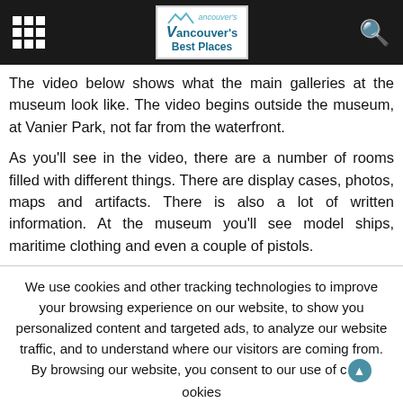Vancouver's Best Places
The video below shows what the main galleries at the museum look like. The video begins outside the museum, at Vanier Park, not far from the waterfront.
As you'll see in the video, there are a number of rooms filled with different things. There are display cases, photos, maps and artifacts. There is also a lot of written information. At the museum you'll see model ships, maritime clothing and even a couple of pistols.
We use cookies and other tracking technologies to improve your browsing experience on our website, to show you personalized content and targeted ads, to analyze our website traffic, and to understand where our visitors are coming from. By browsing our website, you consent to our use of cookies and other tracking technologies.